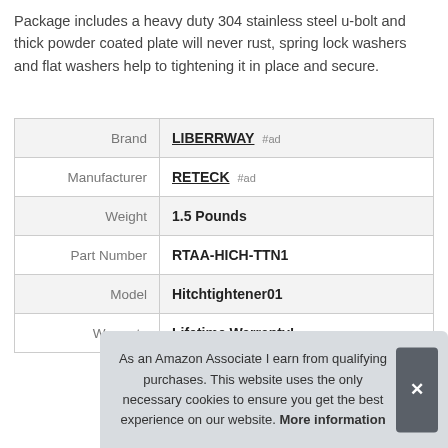Package includes a heavy duty 304 stainless steel u-bolt and thick powder coated plate will never rust, spring lock washers and flat washers help to tightening it in place and secure.
|  |  |
| --- | --- |
| Brand | LIBERRWAY #ad |
| Manufacturer | RETECK #ad |
| Weight | 1.5 Pounds |
| Part Number | RTAA-HICH-TTN1 |
| Model | Hitchtightener01 |
| Warranty | Lifetime Warranty! |
As an Amazon Associate I earn from qualifying purchases. This website uses the only necessary cookies to ensure you get the best experience on our website. More information